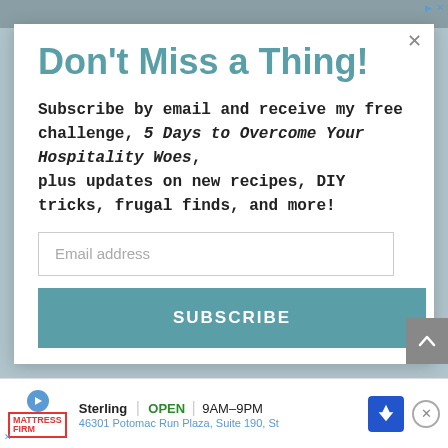[Figure (screenshot): Email subscription popup modal on a website. Contains 'Don't Miss a Thing!' heading, subscription text, email input field, and Subscribe button. Background shows a muted teal/blue color. Bottom shows a Mattress Firm advertisement bar.]
Don't Miss a Thing!
Subscribe by email and receive my free challenge, 5 Days to Overcome Your Hospitality Woes, plus updates on new recipes, DIY tricks, frugal finds, and more!
Email address
SUBSCRIBE
Sterling OPEN 9AM-9PM 46301 Potomac Run Plaza, Suite 190, St